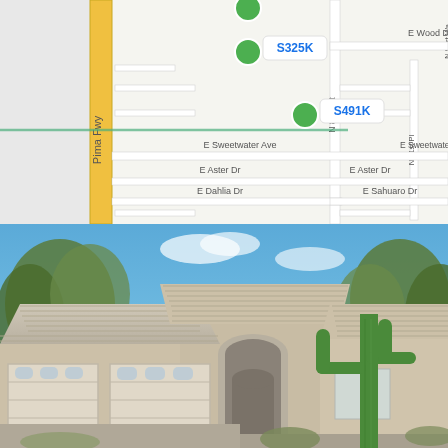[Figure (map): Street map showing Pima Fwy area with N 89th St, E Wood Dr, E Sweetwater Ave, E Aster Dr, E Dahlia Dr, E Sahuaro Dr, N 91st Pl, N 91st Way. Two green circle markers labeled S325K and S491K indicating property sale prices.]
[Figure (photo): Exterior photo of a single-story Southwest-style home with tan/beige stucco walls, clay tile roof, two-car garage, arched entryway, and tall saguaro cactus in the front yard. Blue sky and trees in background.]